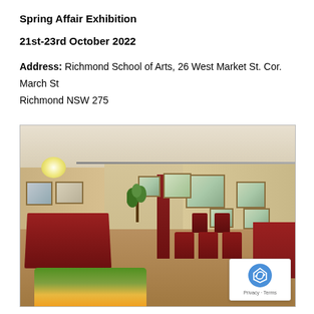Spring Affair Exhibition
21st-23rd October 2022
Address: Richmond School of Arts, 26 West Market St. Cor.
March St
Richmond NSW 275
[Figure (photo): Interior of Richmond School of Arts gallery hall showing paintings hung on cream walls with track lighting, red curtains, red tablecloth on a table, red chairs arranged in rows, wooden floor, chandelier, and floral arrangement in foreground.]
Privacy · Terms